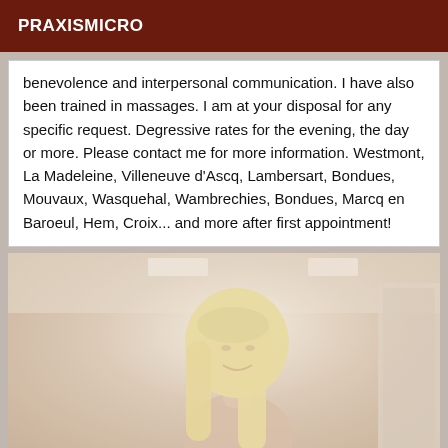PRAXISMICRO
benevolence and interpersonal communication. I have also been trained in massages. I am at your disposal for any specific request. Degressive rates for the evening, the day or more. Please contact me for more information. Westmont, La Madeleine, Villeneuve d'Ascq, Lambersart, Bondues, Mouvaux, Wasquehal, Wambrechies, Bondues, Marcq en Baroeul, Hem, Croix... and more after first appointment!
[Figure (photo): A blonde woman smiling in a bright, light-colored room interior]